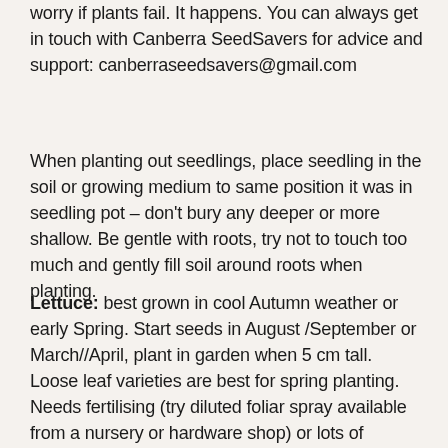worry if plants fail. It happens. You can always get in touch with Canberra SeedSavers for advice and support: canberraseedsavers@gmail.com
When planting out seedlings, place seedling in the soil or growing medium to same position it was in seedling pot – don't bury any deeper or more shallow. Be gentle with roots, try not to touch too much and gently fill soil around roots when planting.
Lettuce: best grown in cool Autumn weather or early Spring. Start seeds in August /September or March//April, plant in garden when 5 cm tall. Loose leaf varieties are best for spring planting. Needs fertilising (try diluted foliar spray available from a nursery or hardware shop) or lots of compost in soil. Dries out very easily in heat so keep consistently